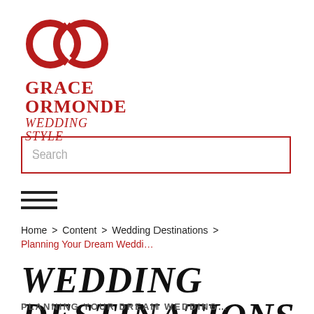[Figure (logo): Grace Ormonde Wedding Style logo — two interlocked circles in red above the text GRACE ORMONDE WEDDING STYLE in red serif font]
Search
[Figure (illustration): Hamburger menu icon — three horizontal black lines]
Home > Content > Wedding Destinations > Planning Your Dream Weddi…
WEDDING DESTINATIONS
PLANNING YOUR DREAM WEDDING…